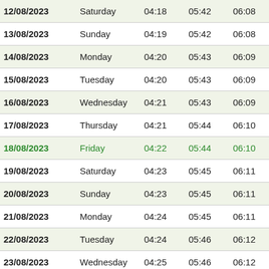| Date | Day | Col3 | Col4 | Col5 | Col6 | Col7 |
| --- | --- | --- | --- | --- | --- | --- |
| 12/08/2023 | Saturday | 04:18 | 05:42 | 06:08 | 12:17 | 1 |
| 13/08/2023 | Sunday | 04:19 | 05:42 | 06:08 | 12:17 | 1 |
| 14/08/2023 | Monday | 04:20 | 05:43 | 06:09 | 12:16 | 1 |
| 15/08/2023 | Tuesday | 04:20 | 05:43 | 06:09 | 12:16 | 1 |
| 16/08/2023 | Wednesday | 04:21 | 05:43 | 06:09 | 12:16 | 1 |
| 17/08/2023 | Thursday | 04:21 | 05:44 | 06:10 | 12:16 | 1 |
| 18/08/2023 | Friday | 04:22 | 05:44 | 06:10 | 12:16 | 1 |
| 19/08/2023 | Saturday | 04:23 | 05:45 | 06:11 | 12:15 | 1 |
| 20/08/2023 | Sunday | 04:23 | 05:45 | 06:11 | 12:15 | 1 |
| 21/08/2023 | Monday | 04:24 | 05:45 | 06:11 | 12:15 | 1 |
| 22/08/2023 | Tuesday | 04:24 | 05:46 | 06:12 | 12:15 | 1 |
| 23/08/2023 | Wednesday | 04:25 | 05:46 | 06:12 | 12:14 | 1 |
| 24/08/2023 | Thursday | 04:25 | 05:46 | 06:12 | 12:14 | 1 |
| 25/08/2023 | Friday | 04:26 | 05:47 | 06:13 | 12:14 | 1 |
| 26/08/2023 | Saturday | 04:26 | 05:47 | 06:13 | 12:14 | 1 |
| 27/08/2023 | Sunday | 04:27 | 05:48 | 06:13 | 12:13 | 1 |
| 28/08/2023 | Monday | 04:27 | 05:48 | 06:14 | 12:13 | 1 |
| 29/08/2023 | Tuesday | 04:28 | 05:48 | 06:14 | 12:13 | 1 |